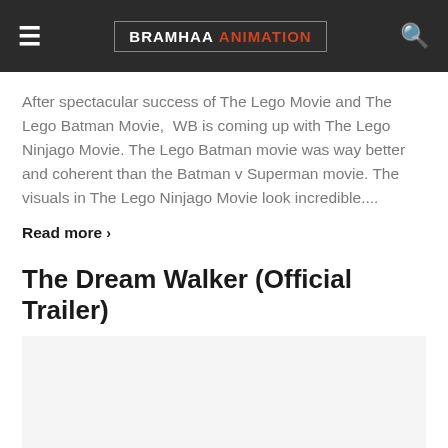BRAMHAA ANIMATION
After spectacular success of The Lego Movie and The Lego Batman Movie,  WB is coming up with The Lego Ninjago Movie. The Lego Batman movie was way better and coherent than the Batman v Superman movie. The visuals in The Lego Ninjago Movie look incredible....
Read more >
The Dream Walker (Official Trailer)
[Figure (other): Video thumbnail placeholder with play button icon]